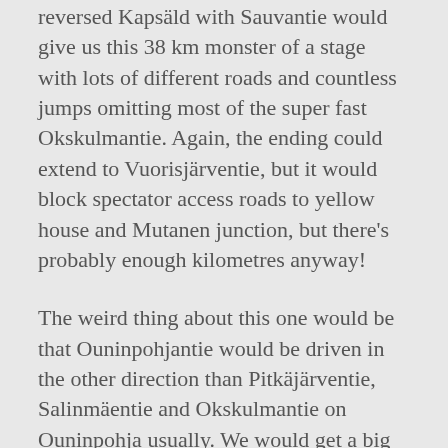reversed Kapsäld with Sauvantie would give us this 38 km monster of a stage with lots of different roads and countless jumps omitting most of the super fast Okskulmantie. Again, the ending could extend to Vuorisjärventie, but it would block spectator access roads to yellow house and Mutanen junction, but there's probably enough kilometres anyway!
The weird thing about this one would be that Ouninpohjantie would be driven in the other direction than Pitkäjärventie, Salinmäentie and Okskulmantie on Ouninpohja usually. We would get a big yellow house jump and a left turn at the Kakaristo hairpin.
I added a detour through a forestry road between Juuvantie and Hassintie, but it might be too soft for